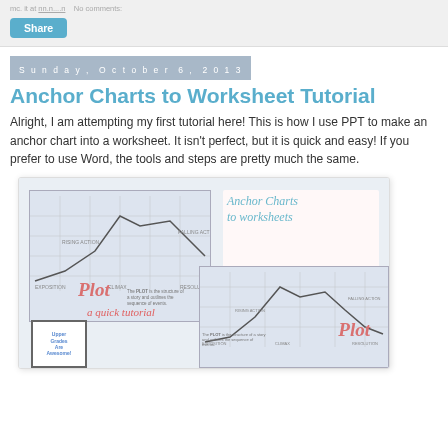mc. it at [link] No comments:
Share
Sunday, October 6, 2013
Anchor Charts to Worksheet Tutorial
Alright, I am attempting my first tutorial here! This is how I use PPT to make an anchor chart into a worksheet. It isn't perfect, but it is quick and easy! If you prefer to use Word, the tools and steps are pretty much the same.
[Figure (illustration): Thumbnail image showing an anchor chart tutorial preview — includes two plot diagram anchor charts with mountain-shaped story arc lines, handwritten 'Anchor Charts to worksheets' title, 'a quick tutorial' text, 'Plot' word art in red, and a small notebook graphic.]